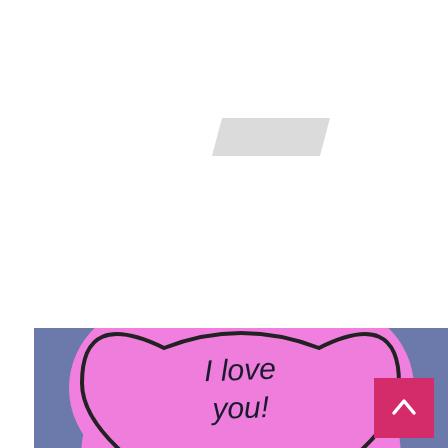[Figure (illustration): A gray/silver tape or label shape (parallelogram) centered near the top of the page on a white background]
[Figure (illustration): A pink heart-shaped balloon or candy with the handwritten text 'I love you!' in dark ink, on a blue-gray background, partially cropped at bottom of page. A hot pink back-to-top button with a chevron/arrow icon is in the bottom-right corner.]